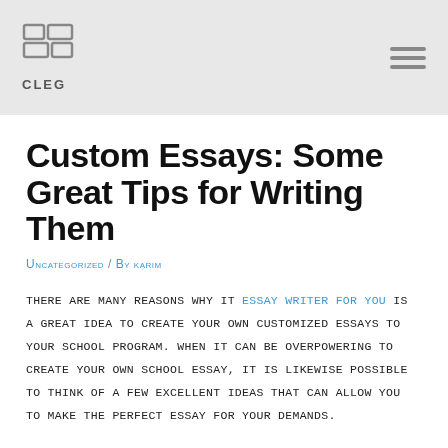[Figure (logo): CLEG logo with grid icon and hamburger menu icon in header bar]
Custom Essays: Some Great Tips for Writing Them
Uncategorized / By karim
There are many reasons why it essay writer for you is a great idea to create your own customized essays to your school program. When it can be overpowering to create your own school essay, it is likewise possible to think of a few excellent ideas that can allow you to make the perfect essay for your demands.